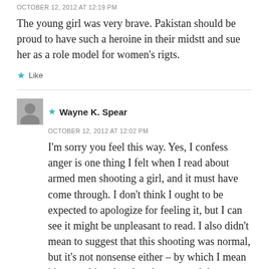OCTOBER 12, 2012 AT 12:19 PM
The young girl was very brave. Pakistan should be proud to have such a heroine in their midstt and sue her as a role model for women's rigts.
★ Like
★ Wayne K. Spear
OCTOBER 12, 2012 AT 12:02 PM
I'm sorry you feel this way. Yes, I confess anger is one thing I felt when I read about armed men shooting a girl, and it must have come through. I don't think I ought to be expected to apologize for feeling it, but I can see it might be unpleasant to read. I also didn't mean to suggest that this shooting was normal, but it's not nonsense either – by which I mean it's something that does happen and the reasons for it are not hard to describe.